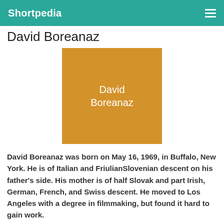Shortpedia
David Boreanaz
[Figure (illustration): Orange/amber colored placeholder image with white text reading 'David Boreanaz']
David Boreanaz was born on May 16, 1969, in Buffalo, New York. He is of Italian and FriulianSlovenian descent on his father's side. His mother is of half Slovak and part Irish, German, French, and Swiss descent. He moved to Los Angeles with a degree in filmmaking, but found it hard to gain work.